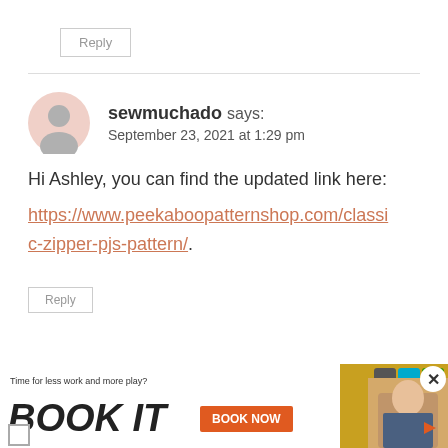Reply
sewmuchado says:
September 23, 2021 at 1:29 pm
Hi Ashley, you can find the updated link here:
https://www.peekaboopatternshop.com/classic-zipper-pjs-pattern/.
Reply
[Figure (screenshot): Advertisement banner: 'Time for less work and more play? BOOK IT' with BOOK NOW button, hotel logos, and close button]